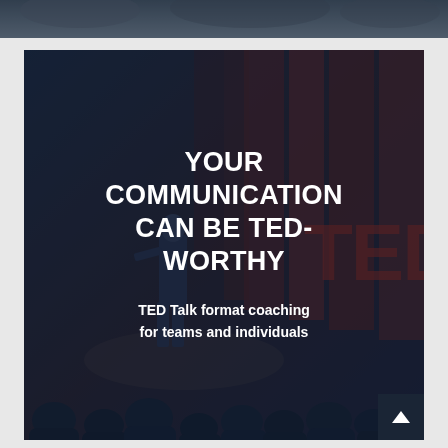[Figure (photo): Top strip showing a dark audience/presentation scene, partially cropped]
[Figure (photo): Dark blue-overlaid photo of a TED Talk stage with a presenter standing on stage, audience silhouettes in foreground, red TED branding visible in background]
YOUR COMMUNICATION CAN BE TED-WORTHY
TED Talk format coaching for teams and individuals